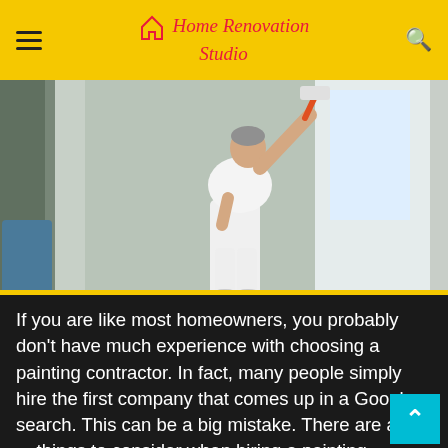Home Renovation Studio
[Figure (photo): A middle-aged man in white clothing painting a wall with a roller brush on an extended handle, standing in a bright interior hallway.]
If you are like most homeowners, you probably don't have much experience with choosing a painting contractor. In fact, many people simply hire the first company that comes up in a Google search. This can be a big mistake. There are a lot of things to consider when hiring a painting contractor, and not all companies are created equal.